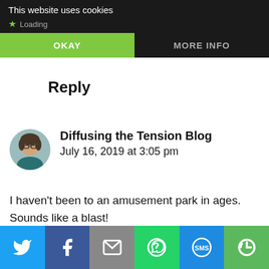This website uses cookies
Loading...
OKAY | MORE INFO
Reply
[Figure (photo): Avatar photo of a person with glasses and dark hair]
Diffusing the Tension Blog
July 16, 2019 at 3:05 pm
I haven’t been to an amusement park in ages. Sounds like a blast!
Loading...
[Figure (infographic): Social sharing bar with Twitter, Facebook, Email, WhatsApp, SMS, and other share buttons]